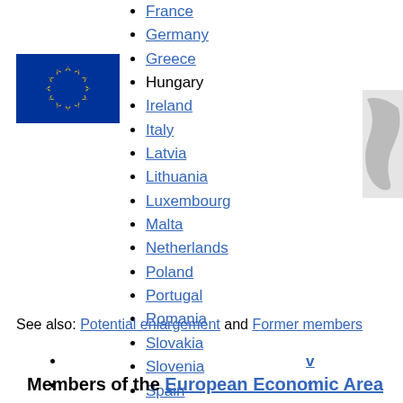[Figure (illustration): EU flag - blue background with yellow stars in a circle]
France
Germany
Greece
Hungary
Ireland
Italy
Latvia
Lithuania
Luxembourg
Malta
Netherlands
Poland
Portugal
Romania
Slovakia
Slovenia
Spain
Sweden
See also: Potential enlargement and Former members
v
t
e
Members of the European Economic Area